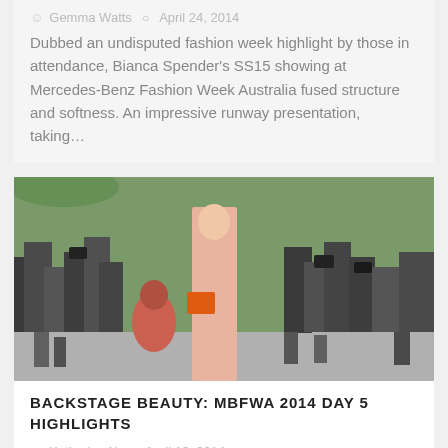Gemma Watts  April 24, 2014
Dubbed an undisputed fashion week highlight by those in attendance, Bianca Spender's SS15 showing at Mercedes-Benz Fashion Week Australia fused structure and softness. An impressive runway presentation, taking…
[Figure (photo): Crowd of photographers surrounding a tall woman in a pink outfit carrying an orange handbag, at a fashion week event.]
BACKSTAGE BEAUTY: MBFWA 2014 DAY 5 HIGHLIGHTS
Katherine Ng  April 13, 2014